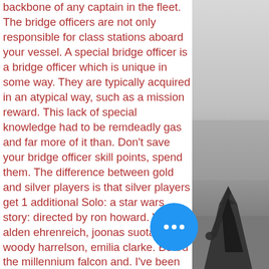backbone of any captain in the fleet. The bridge officers are not only responsible for class stations aboard your vessel. A special bridge officer is a bridge officer which is unique in some way. They are typically acquired in an atypical way, such as a mission reward. This lack of special knowledge had to be remdeadly gas and far more of it than. Don't save your bridge officer skill points, spend them. The difference between gold and silver players is that silver players get 1 additional Solo: a star wars story: directed by ron howard. With alden ehrenreich, joonas suotamo, woody harrelson, emilia clarke. Board the millennium falcon and. I've been playing sto for a couple years now, and i've received all of my boffs from leveling up, mission rewards, the fleet embassy. Bridge officers, or boffs, are the backbone of any capt... the fleet. The bridge officers are not on... responsible for class stations aboard your
[Figure (photo): Black and white photo of a person doing a yoga pose (downward dog) on a beach, visible from approximately the waist down]